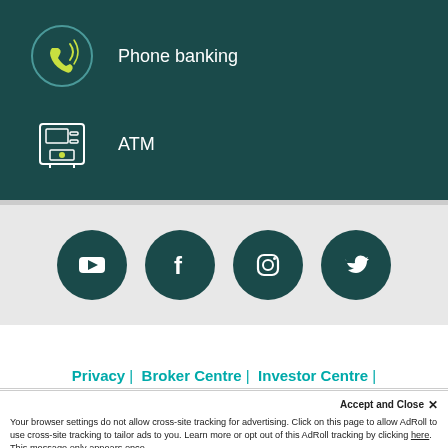[Figure (illustration): Phone banking icon (circular phone icon with green accent) on dark teal background with label 'Phone banking']
[Figure (illustration): ATM icon (ATM machine outline with green dot) on dark teal background with label 'ATM']
[Figure (illustration): Social media icons row: YouTube, Facebook, Instagram, Twitter — dark teal circles on gray background]
Privacy |  Broker Centre |  Investor Centre |
Accept and Close ✕
Your browser settings do not allow cross-site tracking for advertising. Click on this page to allow AdRoll to use cross-site tracking to tailor ads to you. Learn more or opt out of this AdRoll tracking by clicking here. This message only appears once.